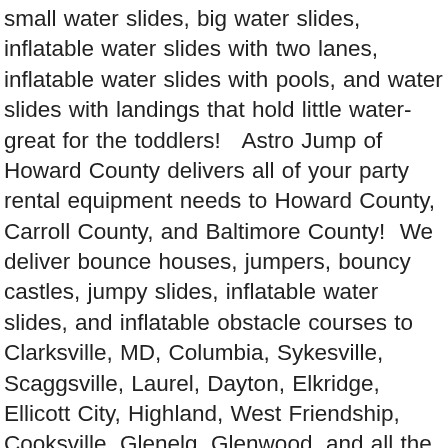small water slides, big water slides, inflatable water slides with two lanes, inflatable water slides with pools, and water slides with landings that hold little water- great for the toddlers!   Astro Jump of Howard County delivers all of your party rental equipment needs to Howard County, Carroll County, and Baltimore County!  We deliver bounce houses, jumpers, bouncy castles, jumpy slides, inflatable water slides, and inflatable obstacle courses to Clarksville, MD, Columbia, Sykesville, Scaggsville, Laurel, Dayton, Elkridge, Ellicott City, Highland, West Friendship, Cooksville, Glenelg, Glenwood, and all the way up to Parkton, Manchester, Pikesville, and Westminster, MD.   Call Astro Jump of Howard County to see what we can do for you today!   Astro Jump of Howard County 443-291-6956 astronw@gmail.com